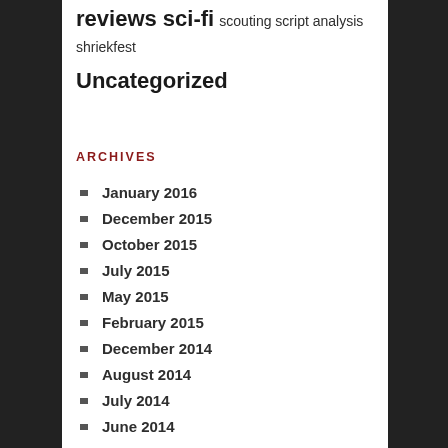reviews sci-fi scouting script analysis shriekfest
Uncategorized
ARCHIVES
January 2016
December 2015
October 2015
July 2015
May 2015
February 2015
December 2014
August 2014
July 2014
June 2014
May 2014
April 2014
February 2014
January 2014
December 2013
November 2013